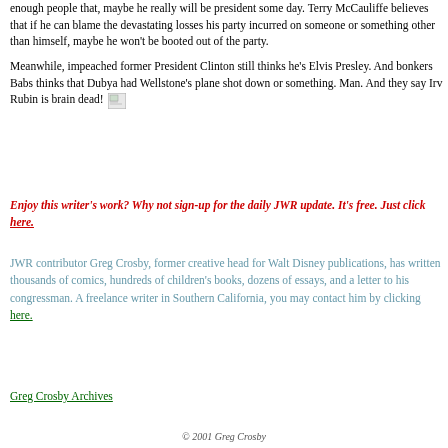enough people that, maybe he really will be president some day. Terry McCauliffe believes that if he can blame the devastating losses his party incurred on someone or something other than himself, maybe he won't be booted out of the party.
Meanwhile, impeached former President Clinton still thinks he's Elvis Presley. And bonkers Babs thinks that Dubya had Wellstone's plane shot down or something. Man. And they say Irv Rubin is brain dead!
Enjoy this writer's work? Why not sign-up for the daily JWR update. It's free. Just click here.
JWR contributor Greg Crosby, former creative head for Walt Disney publications, has written thousands of comics, hundreds of children's books, dozens of essays, and a letter to his congressman. A freelance writer in Southern California, you may contact him by clicking here.
Greg Crosby Archives
© 2001 Greg Crosby